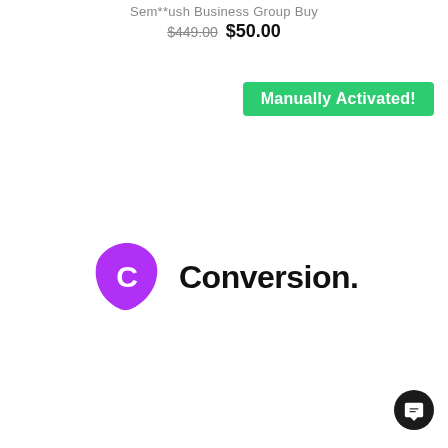Sem**ush Business Group Buy
$449.00  $50.00
Manually Activated!
[Figure (logo): Conversion.ai logo — purple shield-like icon with a white 'C' lettermark, followed by bold black text 'Conversion.ai']